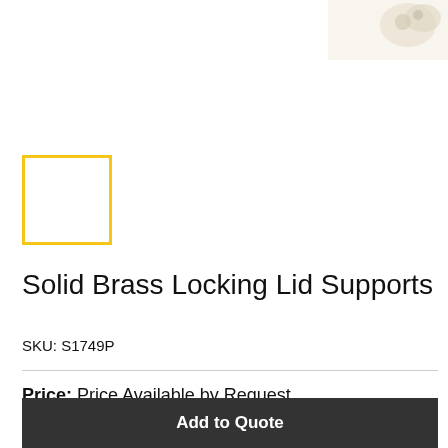[Figure (photo): Product photo of solid brass locking lid supports, partially visible in top-right corner]
[Figure (photo): Small thumbnail image placeholder with yellow/gold border, empty white interior]
Solid Brass Locking Lid Supports
SKU: S1749P
Price: Price Available by Request
Add to Quote